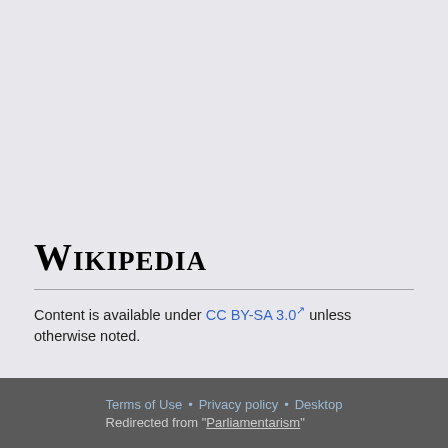[Figure (logo): Wikipedia wordmark logo in serif small-caps font]
Content is available under CC BY-SA 3.0 unless otherwise noted.
Terms of Use • Privacy policy • Desktop
Redirected from "Parliamentarism"